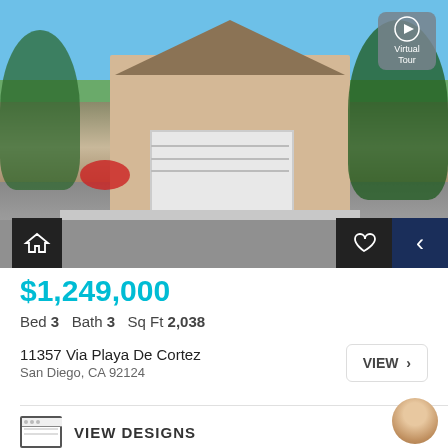[Figure (photo): Exterior photo of a two-story suburban house with beige stucco, white garage door, landscaping with colorful flowers and trees, blue sky. Navigation overlays: Virtual Tour button top right, home icon bottom left, heart icon bottom right, back arrow button far right.]
$1,249,000
Bed 3  Bath 3  Sq Ft 2,038
11357 Via Playa De Cortez
San Diego, CA 92124
VIEW >
VIEW DESIGNS